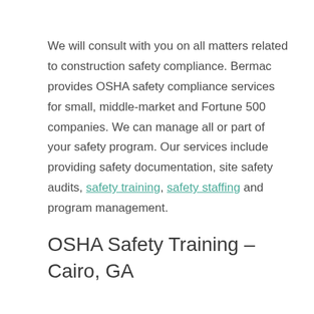We will consult with you on all matters related to construction safety compliance. Bermac provides OSHA safety compliance services for small, middle-market and Fortune 500 companies. We can manage all or part of your safety program. Our services include providing safety documentation, site safety audits, safety training, safety staffing and program management.
OSHA Safety Training – Cairo, GA